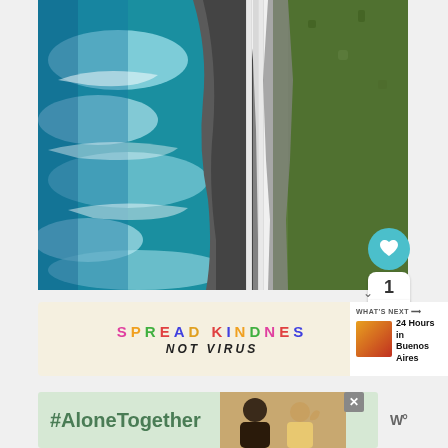[Figure (photo): Aerial view of coastal road with turquoise ocean waves on left, rocky shoreline in middle, and green vegetation on right. Road runs vertically through center of image.]
[Figure (infographic): Spread Kindness Not Virus banner with colorful letters on beige background]
[Figure (photo): What's Next thumbnail - 24 Hours in Buenos Aires]
[Figure (infographic): #AloneTogether advertisement with green background and photo of people waving on video call]